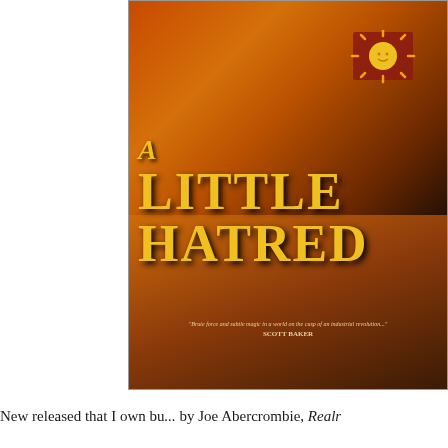[Figure (photo): Book cover of 'A Little Hatred' showing a red flag with a sun emblem against a fiery background, with gold title text and a quote at the bottom]
New released that I own bu... by Joe Abercrombie, Realr...
Regarding non-book great...
[Figure (photo): Netflix promotional cover for 'She-Ra: Princesses of Power' animated series, showing the She-Ra character in pink and gold against a blue background with the show's logo]